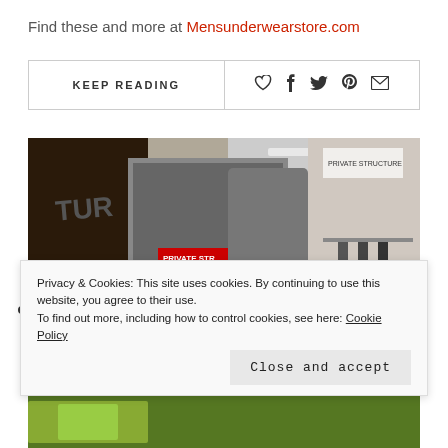Find these and more at Mensunderwearstore.com
KEEP READING
[Figure (photo): Photo of Private Structure underwear display booth at a trade show, showing advertising banners and mannequins with underwear]
Privacy & Cookies: This site uses cookies. By continuing to use this website, you agree to their use. To find out more, including how to control cookies, see here: Cookie Policy
Close and accept
[Figure (photo): Bottom strip showing bright green/yellow clothing items]